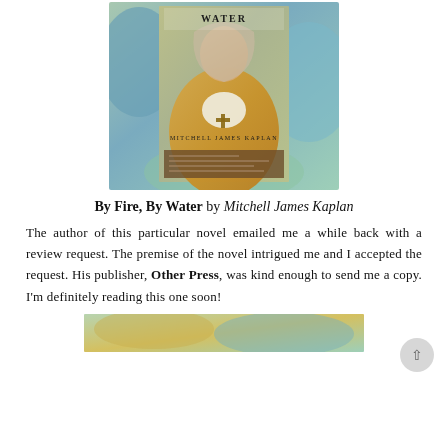[Figure (photo): Book cover of 'By Fire, By Water' by Mitchell James Kaplan, showing a figure in yellow/gold robes with a cross necklace against a colorful painted background]
By Fire, By Water by Mitchell James Kaplan
The author of this particular novel emailed me a while back with a review request. The premise of the novel intrigued me and I accepted the request. His publisher, Other Press, was kind enough to send me a copy. I'm definitely reading this one soon!
[Figure (photo): Partial view of another book cover at the bottom of the page, colorful painted style similar to the first]